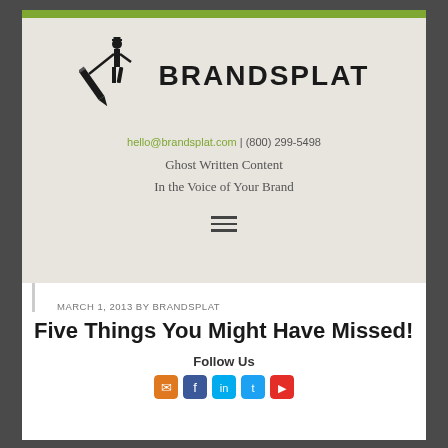[Figure (logo): Brandsplat logo: silhouette of a man in a suit and hat holding a large pen/pencil diagonally, with the word BRANDSPLAT in bold next to him]
hello@brandsplat.com | (800) 299-5498
Ghost Written Content
In the Voice of Your Brand
MARCH 1, 2013 BY BRANDSPLAT
Five Things You Might Have Missed!
Follow Us